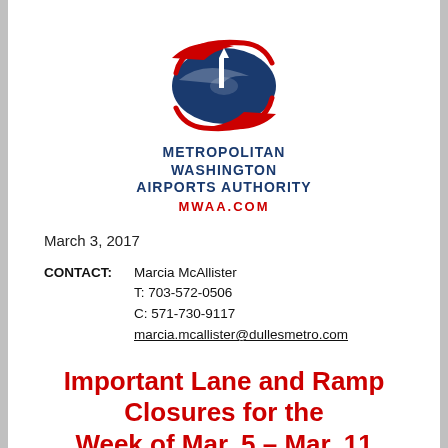[Figure (logo): Metropolitan Washington Airports Authority logo with Washington Monument, Capitol dome, swoosh shapes in red, white, and blue, with text METROPOLITAN WASHINGTON AIRPORTS AUTHORITY and MWAA.COM]
March 3, 2017
CONTACT:   Marcia McAllister
T: 703-572-0506
C: 571-730-9117
marcia.mcallister@dullesmetro.com
Important Lane and Ramp Closures for the Week of Mar. 5 – Mar. 11